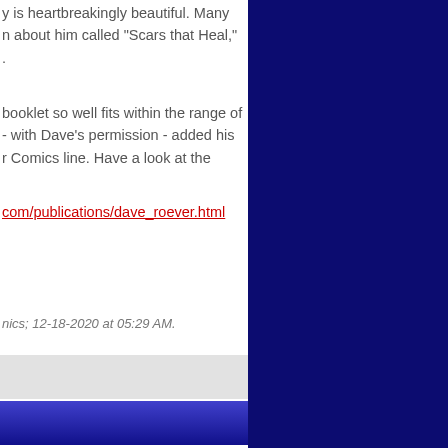y is heartbreakingly beautiful. Many n about him called "Scars that Heal," .
booklet so well fits within the range of - with Dave's permission - added his r Comics line. Have a look at the
com/publications/dave_roever.html
nics; 12-18-2020 at 05:29 AM.
Reply With Quote
#18
he following link is for an interview I seur of First Comics News:
snews.com/rich...n-the-highest/